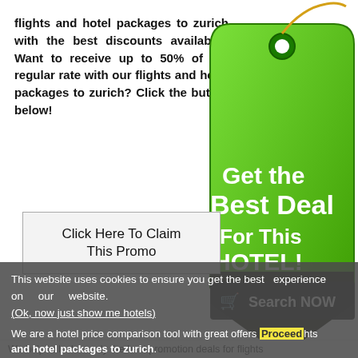flights and hotel packages to zurich with the best discounts available? Want to receive up to 50% of the regular rate with our flights and hotel packages to zurich? Click the button below!
[Figure (illustration): Green price tag graphic with text 'Get the Best Deal For This HOTEL!' and a 'Search NOW' button with shopping cart icon]
Click Here To Claim This Promo
This website uses cookies to ensure you get the best experience on our website. (Ok, now just show me hotels)
We are a hotel price comparison tool with great offers flights and hotel packages to zurich.
Proceed
We help to lock in only the best promotion deals for flights